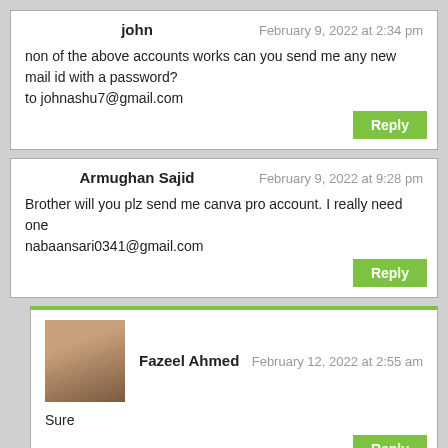john
February 9, 2022 at 2:34 pm
non of the above accounts works can you send me any new mail id with a password?
to johnashu7@gmail.com
Armughan Sajid
February 9, 2022 at 9:28 pm
Brother will you plz send me canva pro account. I really need one
nabaansari0341@gmail.com
Fazeel Ahmed
February 12, 2022 at 2:55 am
Sure